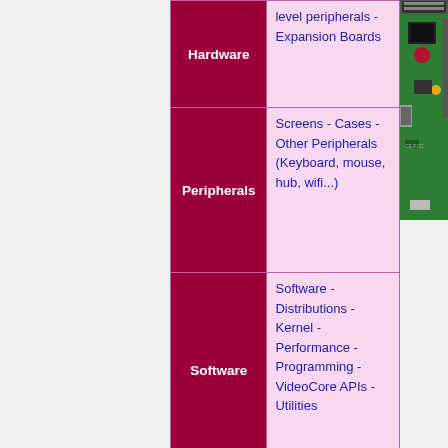| Category | Topics |
| --- | --- |
| Hardware | level peripherals - Expansion Boards |
| Peripherals | Screens - Cases - Other Peripherals (Keyboard, mouse, hub, wifi...) |
| Software | Software - Distributions - Kernel - Performance - Programming - VideoCore APIs - Utilities |
| Projects | Tutorials - Guides - Projects - Tasks - DataSheets |
[Figure (photo): Raspberry Pi circuit board photo, partially visible on the right edge]